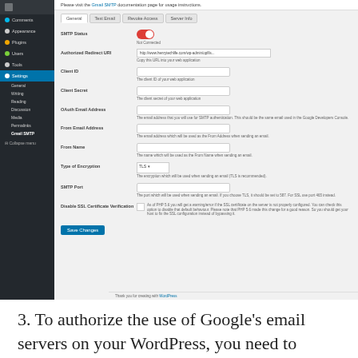[Figure (screenshot): WordPress admin panel showing Gmail SMTP plugin settings page with fields for SMTP Status (toggled on/red), Authorized Redirect URI, Client ID, Client Secret, OAuth Email Address, From Email Address, From Name, Type of Encryption (TLS dropdown), SMTP Port, Disable SSL Certificate Verification (checkbox), and a Save Changes button. Left sidebar shows WordPress admin navigation with Settings > Gmail SMTP highlighted.]
3. To authorize the use of Google's email servers on your WordPress, you need to create a set of secure